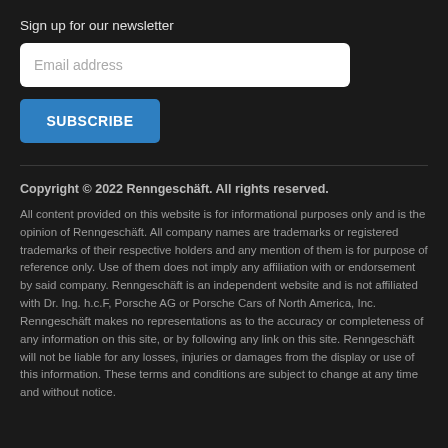Sign up for our newsletter
[Figure (other): Email address input field with white background and rounded corners]
[Figure (other): Blue SUBSCRIBE button]
Copyright © 2022 Renngeschäft. All rights reserved.
All content provided on this website is for informational purposes only and is the opinion of Renngeschäft. All company names are trademarks or registered trademarks of their respective holders and any mention of them is for purpose of reference only. Use of them does not imply any affiliation with or endorsement by said company. Renngeschäft is an independent website and is not affiliated with Dr. Ing. h.c.F, Porsche AG or Porsche Cars of North America, Inc. Renngeschäft makes no representations as to the accuracy or completeness of any information on this site, or by following any link on this site. Renngeschäft will not be liable for any losses, injuries or damages from the display or use of this information. These terms and conditions are subject to change at any time and without notice.